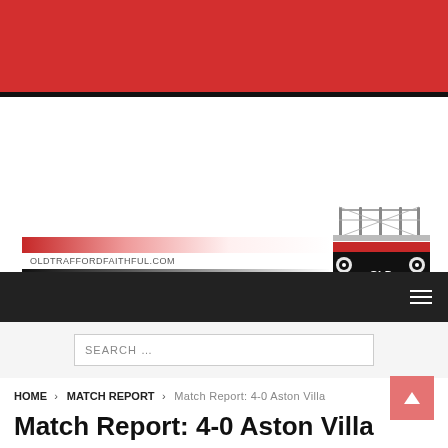[Figure (logo): Red banner header background at top of page]
[Figure (logo): Old Trafford Faithful website logo with striped bar and URL 'oldtraffordfaithful.com', alongside illustrated Old Trafford stadium logo with text 'OLD TRAFFORD FAITHFUL']
[Figure (other): Dark navigation bar with hamburger menu icon]
[Figure (screenshot): Search bar with placeholder text 'SEARCH ...']
HOME > MATCH REPORT > Match Report: 4-0 Aston Villa
Match Report: 4-0 Aston Villa